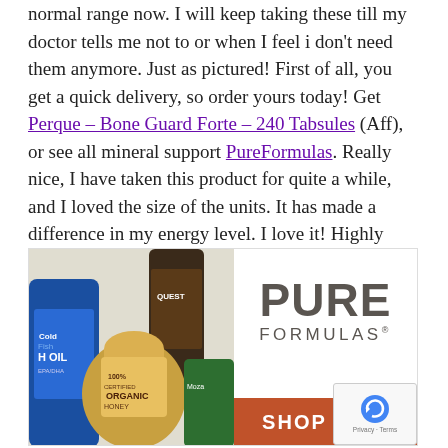normal range now. I will keep taking these till my doctor tells me not to or when I feel i don't need them anymore. Just as pictured! First of all, you get a quick delivery, so order yours today! Get Perque – Bone Guard Forte – 240 Tabsules (Aff), or see all mineral support PureFormulas. Really nice, I have taken this product for quite a while, and I loved the size of the units. It has made a difference in my energy level. I love it! Highly recommended.
[Figure (photo): Advertisement banner for PureFormulas showing various supplement products on the left (fish oil, organic honey, Quest bar, etc.) and the PureFormulas logo with a SHOP NOW orange button on the right. A reCAPTCHA badge is overlaid in the bottom-right corner.]